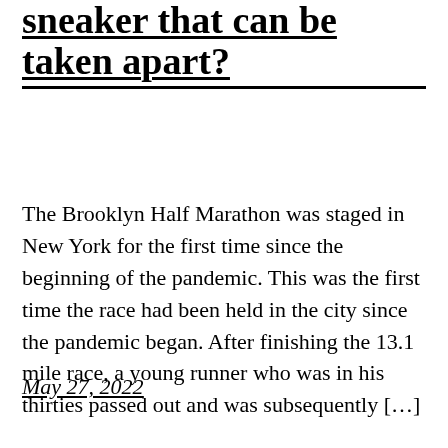sneaker that can be taken apart?
The Brooklyn Half Marathon was staged in New York for the first time since the beginning of the pandemic. This was the first time the race had been held in the city since the pandemic began. After finishing the 13.1 mile race, a young runner who was in his thirties passed out and was subsequently […]
May 27, 2022